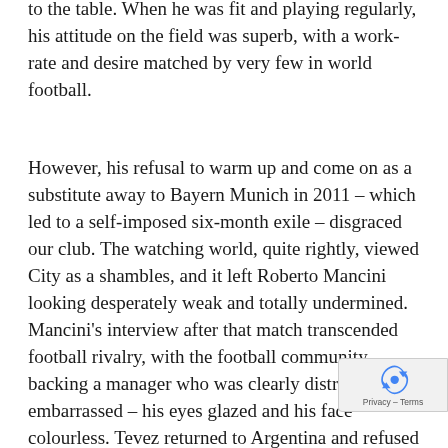to the table. When he was fit and playing regularly, his attitude on the field was superb, with a work-rate and desire matched by very few in world football.
However, his refusal to warm up and come on as a substitute away to Bayern Munich in 2011 – which led to a self-imposed six-month exile – disgraced our club. The watching world, quite rightly, viewed City as a shambles, and it left Roberto Mancini looking desperately weak and totally undermined. Mancini's interview after that match transcended football rivalry, with the football community backing a manager who was clearly distraught and embarrassed – his eyes glazed and his face colourless. Tevez returned to Argentina and refused to play for us, despite his incredible salary and the love the fans had shown him since his arrival. I don't expect footballers to be